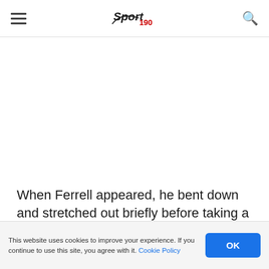Sport 190
[Figure (photo): White/blank image area — article image placeholder]
When Ferrell appeared, he bent down and stretched out briefly before taking a short baseline jumper.
This website uses cookies to improve your experience. If you continue to use this site, you agree with it. Cookie Policy